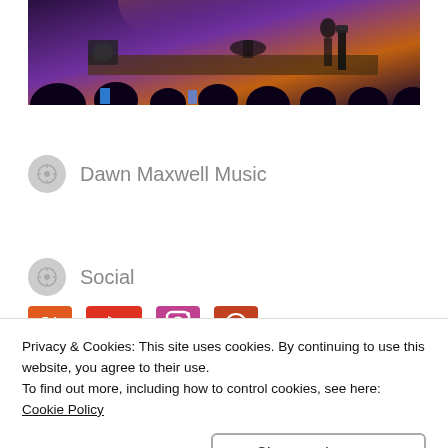[Figure (photo): Concert photo showing musicians on stage with silhouetted audience members in the foreground, purple/orange stage lighting]
Dawn Maxwell Music
Social
[Figure (other): Social media icon buttons: Twitter/X, YouTube, Instagram, and another icon in orange/red colors]
Privacy & Cookies: This site uses cookies. By continuing to use this website, you agree to their use.
To find out more, including how to control cookies, see here: Cookie Policy
Close and accept
[Figure (photo): Three small thumbnail images at the bottom of the page in blue, tan, and red/dark colors]